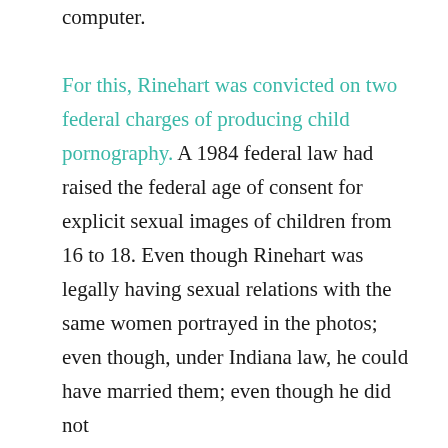computer.
For this, Rinehart was convicted on two federal charges of producing child pornography. A 1984 federal law had raised the federal age of consent for explicit sexual images of children from 16 to 18. Even though Rinehart was legally having sexual relations with the same women portrayed in the photos; even though, under Indiana law, he could have married them; even though he did not